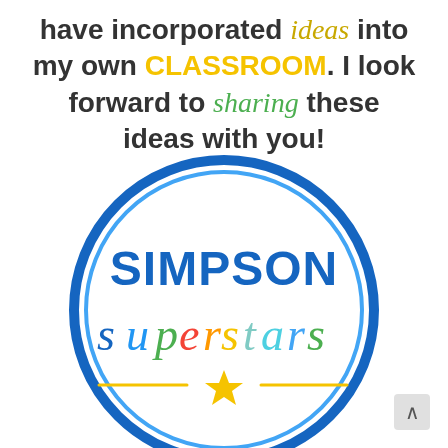have incorporated ideas into my own CLASSROOM. I look forward to sharing these ideas with you!
[Figure (logo): Simpson Superstars circular logo with blue double-ring border, 'SIMPSON' in bold blue letters, 'superstars' in multicolor script, and a gold star with decorative lines at bottom]